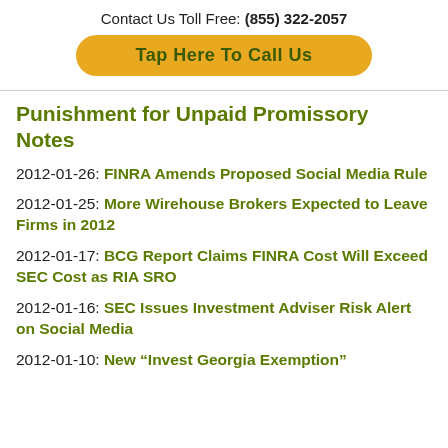Contact Us Toll Free: (855) 322-2057
[Figure (other): Yellow rounded button with text 'Tap Here To Call Us']
Punishment for Unpaid Promissory Notes
2012-01-26: FINRA Amends Proposed Social Media Rule
2012-01-25: More Wirehouse Brokers Expected to Leave Firms in 2012
2012-01-17: BCG Report Claims FINRA Cost Will Exceed SEC Cost as RIA SRO
2012-01-16: SEC Issues Investment Adviser Risk Alert on Social Media
2012-01-10: New “Invest Georgia Exemption”